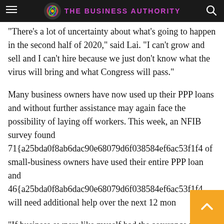THE BUSINESS AUTHORITY
“There’s a lot of uncertainty about what’s going to happen in the second half of 2020,” said Lai. “I can’t grow and sell and I can’t hire because we just don’t know what the virus will bring and what Congress will pass.”
Many business owners have now used up their PPP loans and without further assistance may again face the possibility of laying off workers. This week, an NFIB survey found 71{a25bda0f8ab6dac90e68079d6f038584ef6ac53f1f4 of small-business owners have used their entire PPP loan and 46{a25bda0f8ab6dac90e68079d6f038584ef6ac53f1f4 will need additional help over the next 12 mon
“If business owners like myself had the assurance that they can succeed because of PPP assistance and